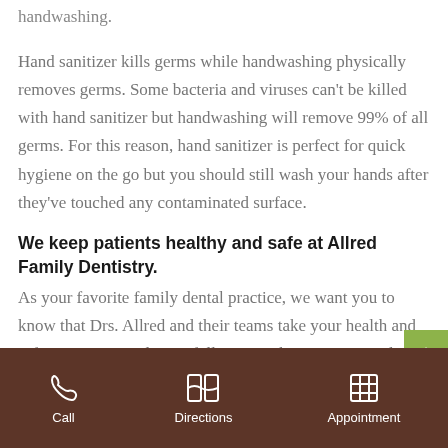handwashing.
Hand sanitizer kills germs while handwashing physically removes germs. Some bacteria and viruses can't be killed with hand sanitizer but handwashing will remove 99% of all germs. For this reason, hand sanitizer is perfect for quick hygiene on the go but you should still wash your hands after they've touched any contaminated surface.
We keep patients healthy and safe at Allred Family Dentistry.
As your favorite family dental practice, we want you to know that Drs. Allred and their teams take your health and safety very seriously. We follow strict hygiene protocols in our offices and ensure the patients who visit us are healthy and ready for
Call  Directions  Appointment